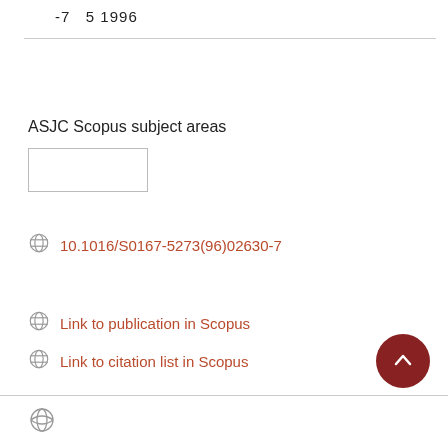-7   5 1996
ASJC Scopus subject areas
10.1016/S0167-5273(96)02630-7
Link to publication in Scopus
Link to citation list in Scopus